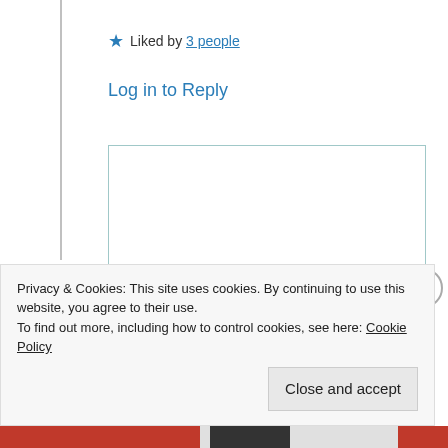★ Liked by 3 people
Log in to Reply
Suma Reddy
3rd Sep 2021 at 10:35 pm
Your thoughts are as lovely as you my sweetest friend. Thank you very much
Privacy & Cookies: This site uses cookies. By continuing to use this website, you agree to their use.
To find out more, including how to control cookies, see here: Cookie Policy
Close and accept